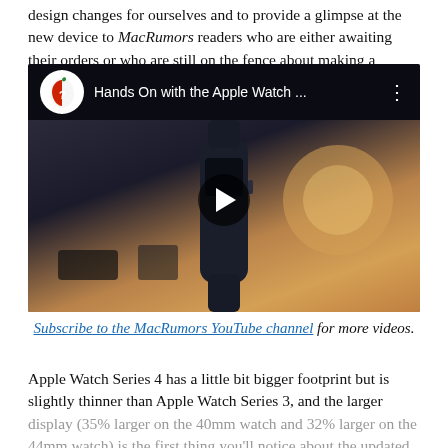design changes for ourselves and to provide a glimpse at the new device to MacRumors readers who are either awaiting their orders or who are still on the fence about making a purchase.
[Figure (screenshot): YouTube video thumbnail showing a dark Apple Watch Series 4 standing upright against a blurred warm background with a golden bokeh light, with a YouTube overlay showing 'Hands On with the Apple Watch ...' title and MacRumors channel logo, with a play button in the center.]
Subscribe to the MacRumors YouTube channel for more videos.
Apple Watch Series 4 has a little bit bigger footprint but is slightly thinner than Apple Watch Series 3, and the larger display (35% larger on the 40mm watch and 32% larger on the 44mm watch) is the first thing you'll notice about the updated